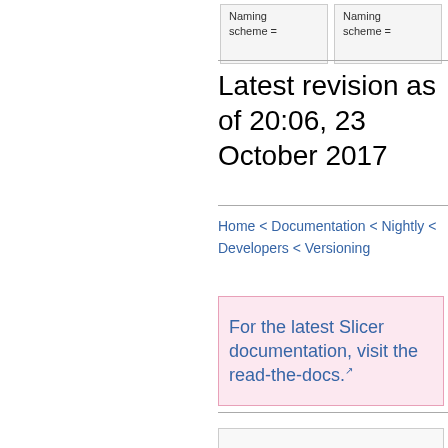Naming scheme =
Naming scheme =
Latest revision as of 20:06, 23 October 2017
Home < Documentation < Nightly < Developers < Versioning
For the latest Slicer documentation, visit the read-the-docs.